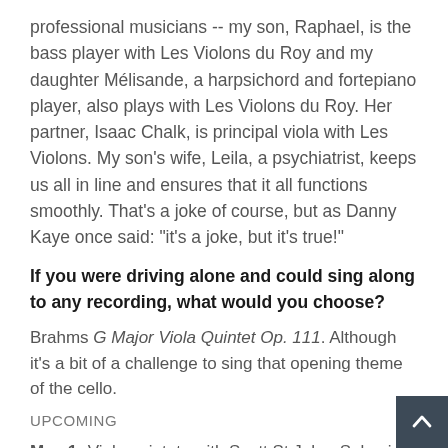professional musicians -- my son, Raphael, is the bass player with Les Violons du Roy and my daughter Mélisande, a harpsichord and fortepiano player, also plays with Les Violons du Roy. Her partner, Isaac Chalk, is principal viola with Les Violons. My son's wife, Leila, a psychiatrist, keeps us all in line and ensures that it all functions smoothly. That's a joke of course, but as Danny Kaye once said: "it's a joke, but it's true!"
If you were driving alone and could sing along to any recording, what would you choose?
Brahms G Major Viola Quintet Op. 111. Although it's a bit of a challenge to sing that opening theme of the cello.
UPCOMING
May 1: Viola quintets with Scott St John, Solomiya Ivakhiv, Sharon Wei and Tom Wiebe at Heliconian Ha